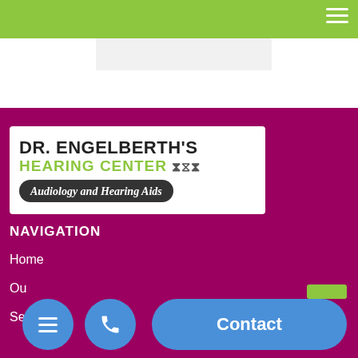[Figure (logo): Dr. Engelberth's Hearing Center logo with green text and dark pill subtitle 'Audiology and Hearing Aids']
NAVIGATION
Home
Ou[r]
Se[r]